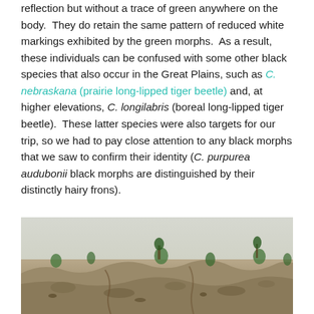reflection but without a trace of green anywhere on the body. They do retain the same pattern of reduced white markings exhibited by the green morphs. As a result, these individuals can be confused with some other black species that also occur in the Great Plains, such as C. nebraskana (prairie long-lipped tiger beetle) and, at higher elevations, C. longilabris (boreal long-lipped tiger beetle). These latter species were also targets for our trip, so we had to pay close attention to any black morphs that we saw to confirm their identity (C. purpurea audubonii black morphs are distinguished by their distinctly hairy frons).
[Figure (photo): Landscape photograph showing a sandy, gravelly terrain with sparse low vegetation and small shrubs or young trees in the background against a pale sky.]